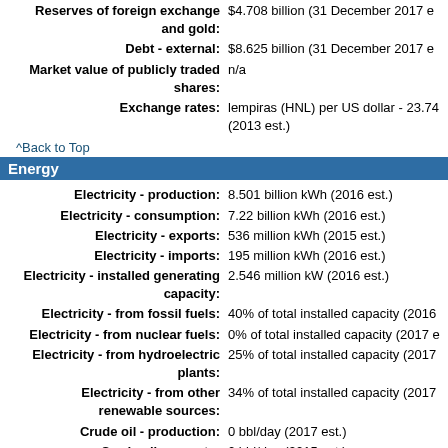Reserves of foreign exchange and gold: $4.708 billion (31 December 2017 est.)
Debt - external: $8.625 billion (31 December 2017 est.)
Market value of publicly traded shares: n/a
Exchange rates: lempiras (HNL) per US dollar - 23.74 (2013 est.)
^Back to Top
Energy
Electricity - production: 8.501 billion kWh (2016 est.)
Electricity - consumption: 7.22 billion kWh (2016 est.)
Electricity - exports: 536 million kWh (2015 est.)
Electricity - imports: 195 million kWh (2016 est.)
Electricity - installed generating capacity: 2.546 million kW (2016 est.)
Electricity - from fossil fuels: 40% of total installed capacity (2016
Electricity - from nuclear fuels: 0% of total installed capacity (2017 est.)
Electricity - from hydroelectric plants: 25% of total installed capacity (2017
Electricity - from other renewable sources: 34% of total installed capacity (2017
Crude oil - production: 0 bbl/day (2017 est.)
Crude oil - exports: 0 bbl/day (2015 est.)
Crude oil - imports: 0 bbl/day (2015 est.)